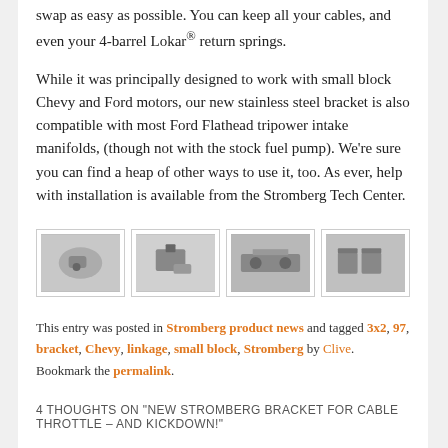swap as easy as possible. You can keep all your cables, and even your 4-barrel Lokar® return springs.
While it was principally designed to work with small block Chevy and Ford motors, our new stainless steel bracket is also compatible with most Ford Flathead tripower intake manifolds, (though not with the stock fuel pump). We're sure you can find a heap of other ways to use it, too. As ever, help with installation is available from the Stromberg Tech Center.
[Figure (photo): Four thumbnail photos of the Stromberg bracket for cable throttle and kickdown, showing different angles and installation views.]
This entry was posted in Stromberg product news and tagged 3x2, 97, bracket, Chevy, linkage, small block, Stromberg by Clive. Bookmark the permalink.
4 THOUGHTS ON "NEW STROMBERG BRACKET FOR CABLE THROTTLE – AND KICKDOWN!"